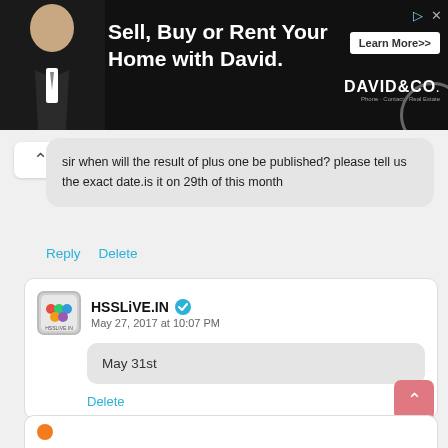[Figure (other): Advertisement banner: 'Sell, Buy or Rent Your Home with David.' with Learn More button and DAVID&CO logo]
sir when will the result of plus one be published? please tell us the exact date.is it on 29th of this month
Reply   Delete
HSSLiVE.IN ✓  May 27, 2017 at 10:07 PM
May 31st
Delete